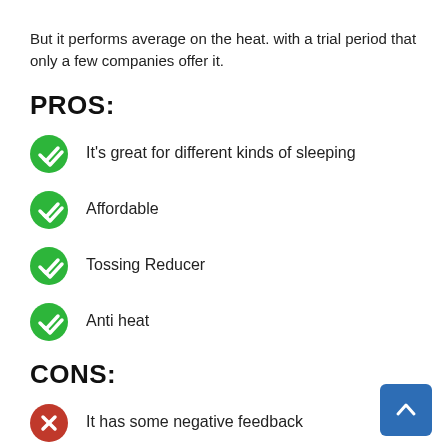But it performs average on the heat. with a trial period that only a few companies offer it.
PROS:
It's great for different kinds of sleeping
Affordable
Tossing Reducer
Anti heat
CONS:
It has some negative feedback